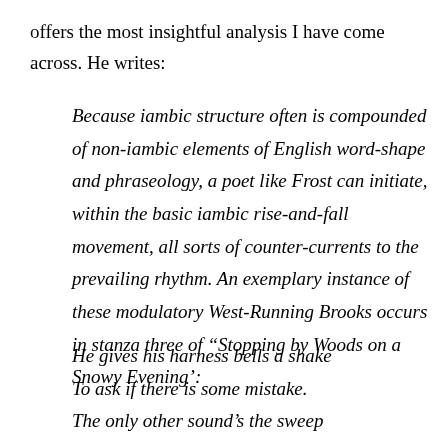offers the most insightful analysis I have come across. He writes:
Because iambic structure often is compounded of non-iambic elements of English word-shape and phraseology, a poet like Frost can initiate, within the basic iambic rise-and-fall movement, all sorts of counter-currents to the prevailing rhythm. An exemplary instance of these modulatory West-Running Brooks occurs in stanza three of “Stopping by Woods on a Snowy Evening’:
He gives his harness bells a shake
To ask if there is some mistake.
The only other sound’s the sweep